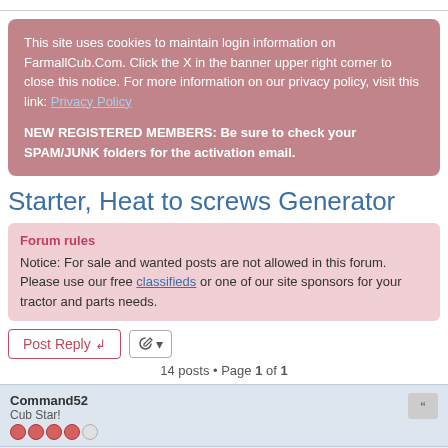This site uses cookies to maintain login information on FarmallCub.Com. Click the X in the banner upper right corner to close this notice. For more information on our privacy policy, visit this link: Privacy Policy
NEW REGISTERED MEMBERS: Be sure to check your SPAM/JUNK folders for the activation email.
Starter, Heat to screws Generator
Forum rules
Notice: For sale and wanted posts are not allowed in this forum. Please use our free classifieds or one of our site sponsors for your tractor and parts needs.
14 posts • Page 1 of 1
Command52
Cub Star!
Starter, Heat to screws Generator
↵ Thu Feb 06, 2020 4:30 am